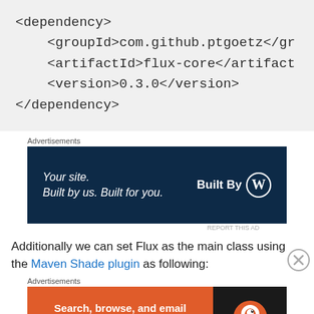<dependency>
    <groupId>com.github.ptgoetz</gr
    <artifactId>flux-core</artifact
    <version>0.3.0</version>
</dependency>
Advertisements
[Figure (screenshot): WordPress advertisement banner: 'Your site. Built by us. Built for you.' with Built By WordPress logo on dark navy background]
REPORT THIS AD
Additionally we can set Flux as the main class using the Maven Shade plugin as following:
Advertisements
[Figure (screenshot): DuckDuckGo advertisement banner: 'Search, browse, and email with more privacy. All in One Free App' on orange background with DuckDuckGo logo on dark background]